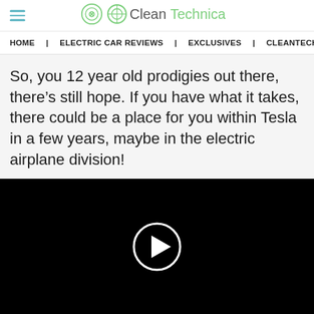CleanTechnica
HOME | ELECTRIC CAR REVIEWS | EXCLUSIVES | CLEANTECHN
So, you 12 year old prodigies out there, there’s still hope. If you have what it takes, there could be a place for you within Tesla in a few years, maybe in the electric airplane division!
[Figure (screenshot): Black video player with a circular white play button in the center]